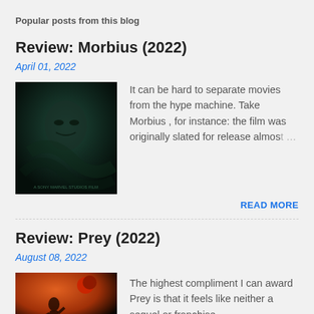Popular posts from this blog
Review: Morbius (2022)
April 01, 2022
[Figure (photo): Morbius 2022 movie poster — dark teal background with ominous face]
It can be hard to separate movies from the hype machine. Take Morbius , for instance: the film was originally slated for release almost …
READ MORE
Review: Prey (2022)
August 08, 2022
[Figure (photo): Prey 2022 movie poster — fiery orange tones with figure silhouette]
The highest compliment I can award  Prey  is that it feels like neither a sequel or franchise…